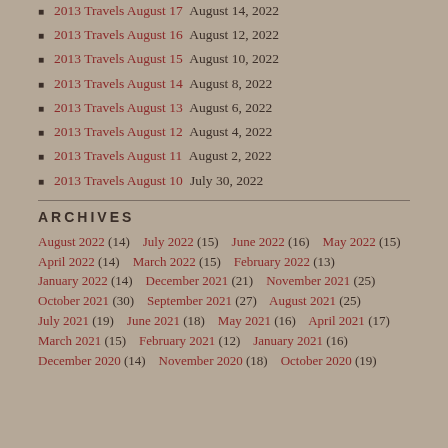2013 Travels August 17 August 14, 2022
2013 Travels August 16 August 12, 2022
2013 Travels August 15 August 10, 2022
2013 Travels August 14 August 8, 2022
2013 Travels August 13 August 6, 2022
2013 Travels August 12 August 4, 2022
2013 Travels August 11 August 2, 2022
2013 Travels August 10 July 30, 2022
ARCHIVES
August 2022 (14)  July 2022 (15)  June 2022 (16)  May 2022 (15)  April 2022 (14)  March 2022 (15)  February 2022 (13)  January 2022 (14)  December 2021 (21)  November 2021 (25)  October 2021 (30)  September 2021 (27)  August 2021 (25)  July 2021 (19)  June 2021 (18)  May 2021 (16)  April 2021 (17)  March 2021 (15)  February 2021 (12)  January 2021 (16)  December 2020 (14)  November 2020 (18)  October 2020 (19)